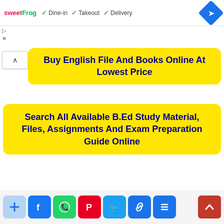[Figure (screenshot): Ad banner with sweetFrog logo and checkmarks for Dine-in, Takeout, Delivery, with a blue navigation diamond icon]
Buy English File And Books Online At Lowest Price
Search All Available B.Ed Study Material, Files, Assignments And Exam Preparation Guide Online
[Figure (infographic): Social sharing buttons row: add, Facebook, WhatsApp, Pinterest, Twitter, link, more; and a red scroll-to-top button]